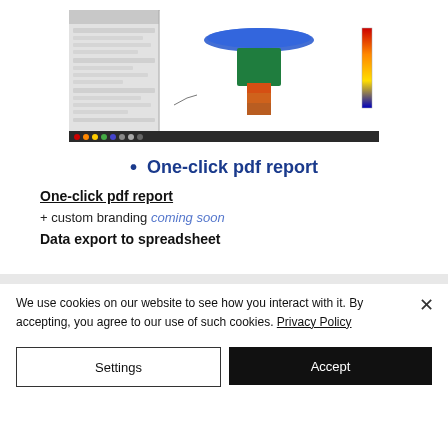[Figure (screenshot): Screenshot of an engineering simulation software showing a 3D model of a component (appears to be a spray nozzle or similar part) with a color temperature/stress gradient, a panel on the left with settings, and a color scale bar on the right.]
One-click pdf report
One-click pdf report
+ custom branding coming soon
Data export to spreadsheet
We use cookies on our website to see how you interact with it. By accepting, you agree to our use of such cookies. Privacy Policy
Settings
Accept